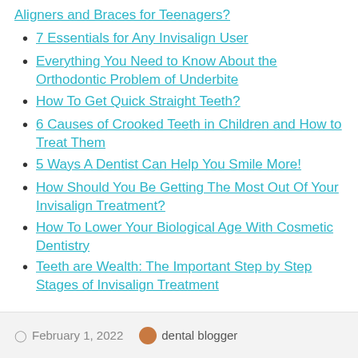Aligners and Braces for Teenagers?
7 Essentials for Any Invisalign User
Everything You Need to Know About the Orthodontic Problem of Underbite
How To Get Quick Straight Teeth?
6 Causes of Crooked Teeth in Children and How to Treat Them
5 Ways A Dentist Can Help You Smile More!
How Should You Be Getting The Most Out Of Your Invisalign Treatment?
How To Lower Your Biological Age With Cosmetic Dentistry
Teeth are Wealth: The Important Step by Step Stages of Invisalign Treatment
February 1, 2022   dental blogger